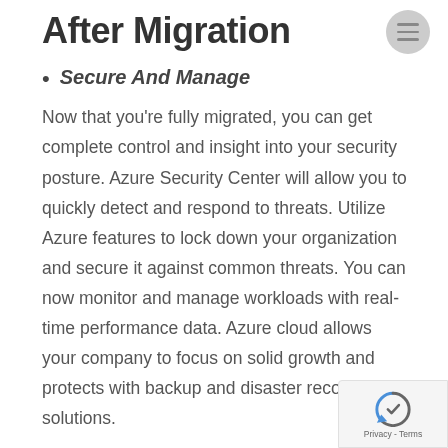After Migration
Secure And Manage
Now that you're fully migrated, you can get complete control and insight into your security posture. Azure Security Center will allow you to quickly detect and respond to threats. Utilize Azure features to lock down your organization and secure it against common threats. You can now monitor and manage workloads with real-time performance data. Azure cloud allows your company to focus on solid growth and protects with backup and disaster recovery solutions.
Govern And Optimize Costs